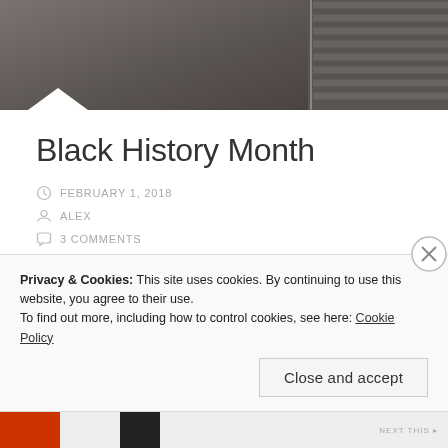[Figure (photo): Dark toned photograph showing a floor surface with concrete and wooden elements, partially visible.]
Black History Month
FEBRUARY 1, 2018
ALEX
3 COMMENTS
Privacy & Cookies: This site uses cookies. By continuing to use this website, you agree to their use.
To find out more, including how to control cookies, see here: Cookie Policy
Close and accept